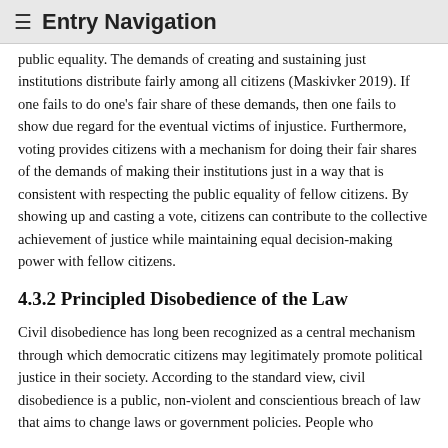≡  Entry Navigation
public equality. The demands of creating and sustaining just institutions distribute fairly among all citizens (Maskivker 2019). If one fails to do one's fair share of these demands, then one fails to show due regard for the eventual victims of injustice. Furthermore, voting provides citizens with a mechanism for doing their fair shares of the demands of making their institutions just in a way that is consistent with respecting the public equality of fellow citizens. By showing up and casting a vote, citizens can contribute to the collective achievement of justice while maintaining equal decision-making power with fellow citizens.
4.3.2 Principled Disobedience of the Law
Civil disobedience has long been recognized as a central mechanism through which democratic citizens may legitimately promote political justice in their society. According to the standard view, civil disobedience is a public, non-violent and conscientious breach of law that aims to change laws or government policies. People who